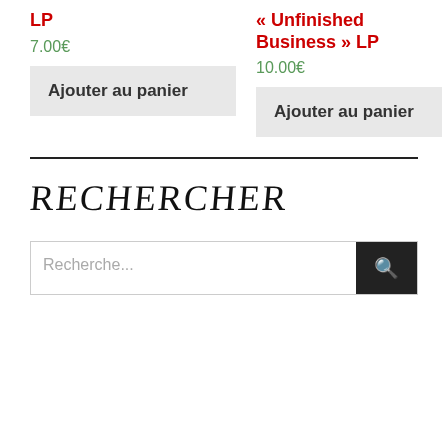LP
7.00€
Ajouter au panier
« Unfinished Business » LP
10.00€
Ajouter au panier
RECHERCHER
Recherche...